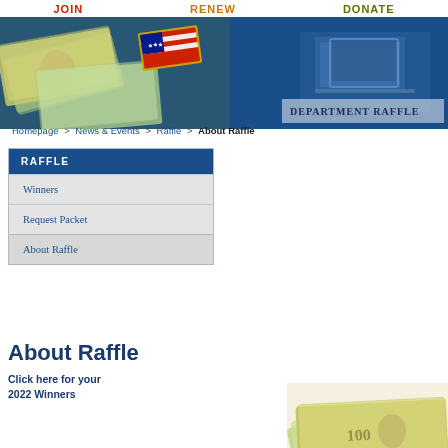JOIN   RENEW   DONATE
[Figure (photo): Banner image with US currency (100 dollar bills), American flag patch, and computer/desk image on blue background. Text overlay reads 'Department Raffle'.]
Homepage > News & Events > Raffle > About Raffle
RAFFLE
Winners
Request Packet
About Raffle
About Raffle
Click here for your 2022 Winners